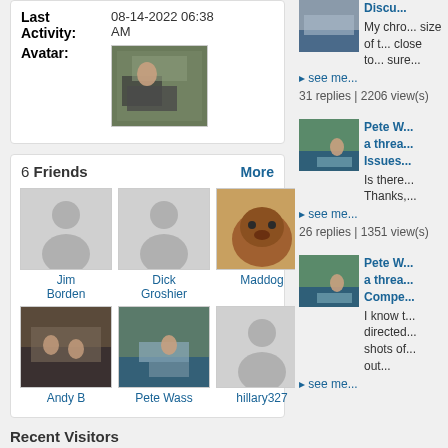Last Activity: 08-14-2022 06:38 AM
[Figure (photo): User avatar photo showing a person in an industrial or workshop setting]
6 Friends  More
[Figure (photo): Jim Borden - default silhouette avatar]
Jim Borden
[Figure (photo): Dick Groshier - default silhouette avatar]
Dick Groshier
[Figure (photo): Maddog - groundhog/beaver photo avatar]
Maddog
[Figure (photo): Andy B - photo of people at a gathering]
Andy B
[Figure (photo): Pete Wass - boat on water photo avatar]
Pete Wass
[Figure (photo): hillary327 - default silhouette avatar]
hillary327
Recent Visitors
The last 10 visitor(s) to this page were:
brcman, Bro D, cecchino, Centerfire
[Figure (photo): Right column: Discuss thread thumbnail - boat image]
Discu...
My chro... size of t... close to... sure...
▸ see me...
31 replies | 2206 view(s)
[Figure (photo): Right column: Pete W thread thumbnail - man on boat]
Pete W... a threa... Issues...
Is there... Thanks,...
▸ see me...
26 replies | 1351 view(s)
[Figure (photo): Right column: Pete W thread thumbnail - man on boat]
Pete W... a threa... Compe...
I know t... directed... shots of... out...
▸ see me...